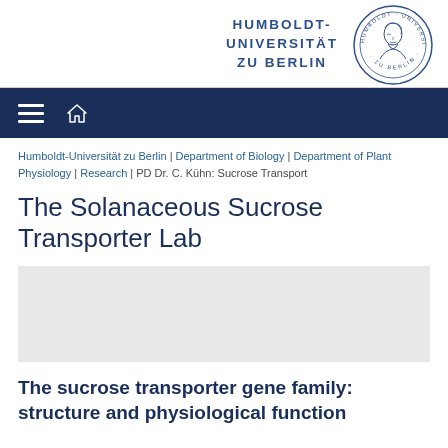HUMBOLDT-UNIVERSITÄT ZU BERLIN
[Figure (logo): Humboldt-Universität zu Berlin circular seal logo with profile portrait in center]
Navigation bar with hamburger menu and home icon
Humboldt-Universität zu Berlin | Department of Biology | Department of Plant Physiology | Research | PD Dr. C. Kühn: Sucrose Transport
The Solanaceous Sucrose Transporter Lab
[Figure (other): Gray placeholder image box]
The sucrose transporter gene family: structure and physiological function